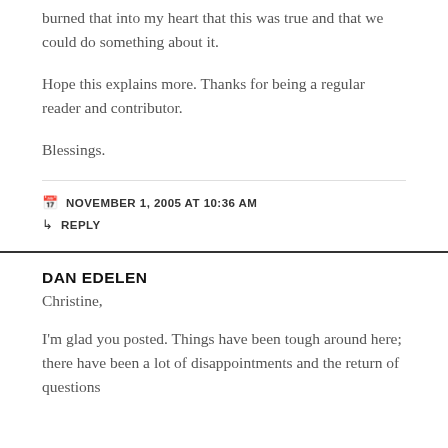burned that into my heart that this was true and that we could do something about it.
Hope this explains more. Thanks for being a regular reader and contributor.
Blessings.
NOVEMBER 1, 2005 AT 10:36 AM
REPLY
DAN EDELEN
Christine,
I'm glad you posted. Things have been tough around here; there have been a lot of disappointments and the return of questions